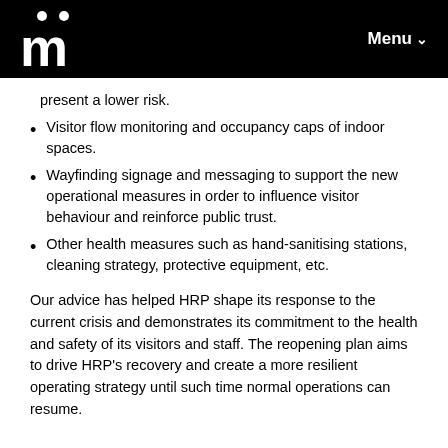m  Menu
present a lower risk.
Visitor flow monitoring and occupancy caps of indoor spaces.
Wayfinding signage and messaging to support the new operational measures in order to influence visitor behaviour and reinforce public trust.
Other health measures such as hand-sanitising stations, cleaning strategy, protective equipment, etc.
Our advice has helped HRP shape its response to the current crisis and demonstrates its commitment to the health and safety of its visitors and staff. The reopening plan aims to drive HRP's recovery and create a more resilient operating strategy until such time normal operations can resume.